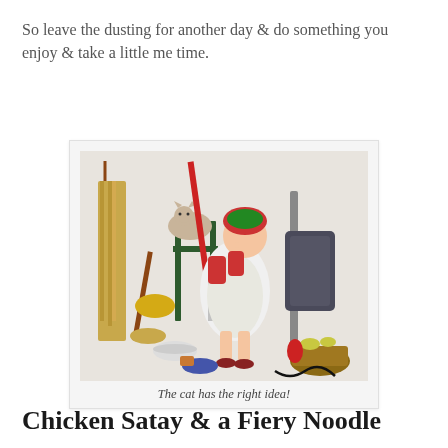So leave the dusting for another day & do something you enjoy & take a little me time.
[Figure (photo): Vintage illustration of a tired housewife sitting on a stool surrounded by cleaning supplies including a mop, broom, vacuum cleaner, and a cat resting on a stool above her.]
The cat has the right idea!
Chicken Satay & a Fiery Noodle